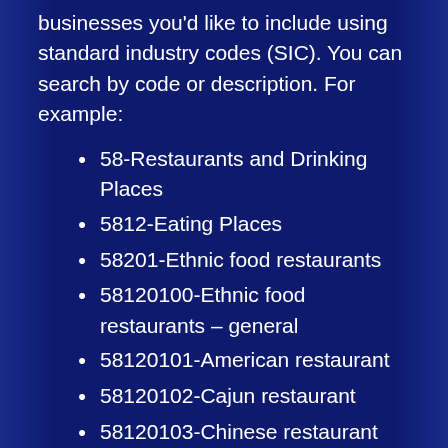businesses you'd like to include using standard industry codes (SIC). You can search by code or description. For example:
58-Restaurants and Drinking Places
5812-Eating Places
58201-Ethnic food restaurants
58120100-Ethnic food restaurants – general
58120101-American restaurant
58120102-Cajun restaurant
58120103-Chinese restaurant